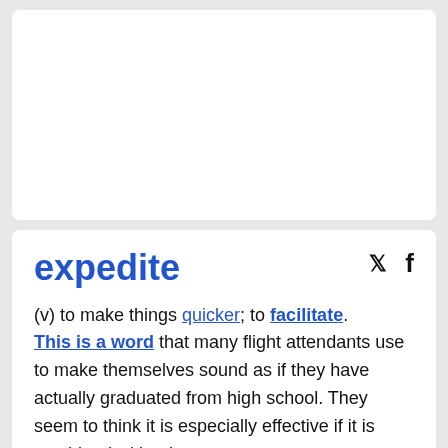[Figure (other): Top white card area — blank/advertisement placeholder]
expedite
(v) to make things quicker; to facilitate. This is a word that many flight attendants use to make themselves sound as if they have actually graduated from high school. They seem to think it is especially effective if it is combined with other